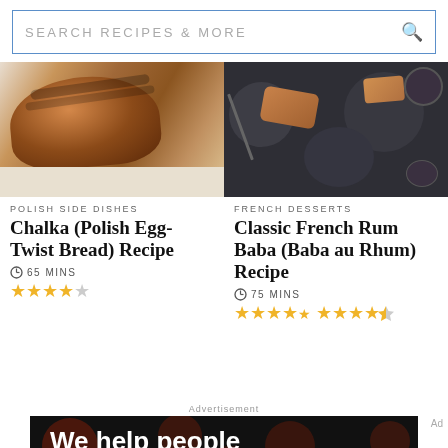SEARCH RECIPES & MORE
[Figure (photo): Chalka Polish egg-twist bread loaf on a cutting board, warm brown tones]
POLISH SIDE DISHES
Chalka (Polish Egg-Twist Bread) Recipe
65 MINS
★★★★☆
[Figure (photo): Classic French Rum Baba dessert pieces on dark plates with sauce, overhead view]
FRENCH DESSERTS
Classic French Rum Baba (Baba au Rhum) Recipe
75 MINS
★★★★½
Advertisement
[Figure (screenshot): Dotdash Meredith advertisement with dark background with bokeh dots and text 'We help people find answers,' with logo bar at bottom]